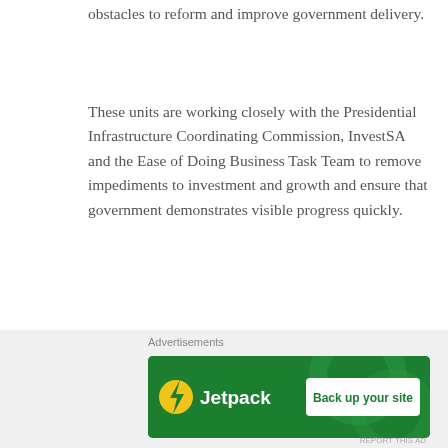obstacles to reform and improve government delivery.
These units are working closely with the Presidential Infrastructure Coordinating Commission, InvestSA and the Ease of Doing Business Task Team to remove impediments to investment and growth and ensure that government demonstrates visible progress quickly.
With an efficient and capable machinery now in place at the centre of government, we will focus on the most urgent reforms and intervene where necessary to ensure implementation.
Fellow South Africans,
Advertisements
[Figure (other): Jetpack advertisement banner with green background, Jetpack logo on left and 'Back up your site' button on right]